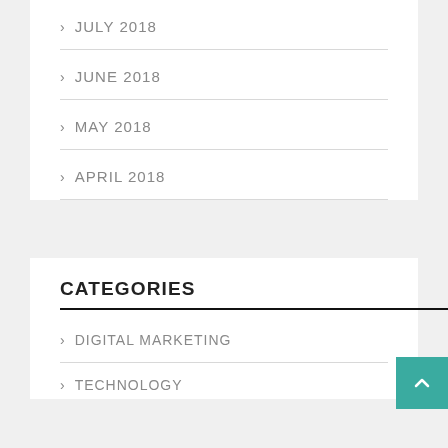JULY 2018
JUNE 2018
MAY 2018
APRIL 2018
CATEGORIES
DIGITAL MARKETING
TECHNOLOGY